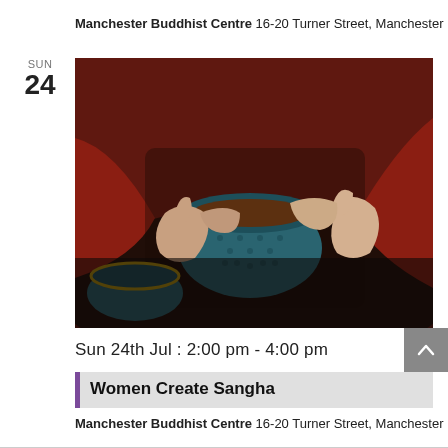Manchester Buddhist Centre 16-20 Turner Street, Manchester
SUN
24
[Figure (photo): Close-up photo of two hands in red long-sleeves holding a dark teal/blue ceramic cup of tea or coffee, with a similar cup visible in the lower left corner, against a dark background.]
Sun 24th Jul : 2:00 pm - 4:00 pm
Women Create Sangha
Manchester Buddhist Centre 16-20 Turner Street, Manchester